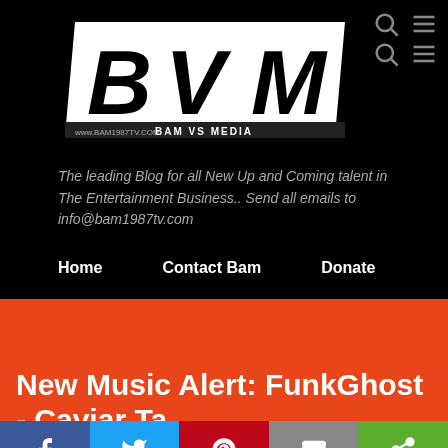[Figure (logo): BVM - BAM VS MEDIA logo with white bold letters on black background, www.bam1987tv.com]
The leading Blog for all New Up and Coming talent in The Entertainment Business.. Send all emails to info@bam1987tv.com
Home   Contact Bam   Donate
New Music Alert: FunkGhost - Caviar Ta...